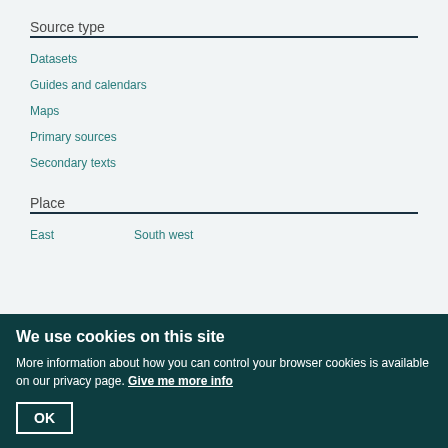Source type
Datasets
Guides and calendars
Maps
Primary sources
Secondary texts
Place
East
South west
We use cookies on this site
More information about how you can control your browser cookies is available on our privacy page. Give me more info
OK